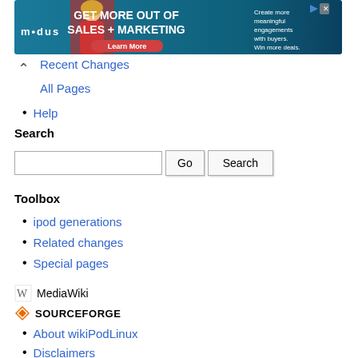[Figure (screenshot): Advertisement banner for Modus: 'GET MORE OUT OF SALES + MARKETING' with a Learn More button, woman in red, and side text about meaningful engagements]
Recent Changes
All Pages
Help
Search
[Figure (screenshot): Search input box with Go and Search buttons]
Toolbox
ipod generations
Related changes
Special pages
[Figure (logo): MediaWiki logo]
[Figure (logo): SourceForge logo]
About wikiPodLinux
Disclaimers